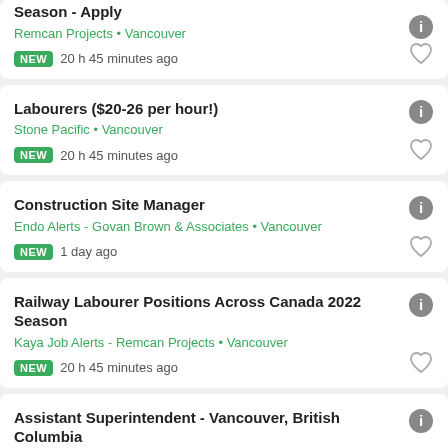Season - Apply
Remcan Projects • Vancouver
NEW 20 h 45 minutes ago
Labourers ($20-26 per hour!)
Stone Pacific • Vancouver
NEW 20 h 45 minutes ago
Construction Site Manager
Endo Alerts - Govan Brown & Associates • Vancouver
NEW 1 day ago
Railway Labourer Positions Across Canada 2022 Season
Kaya Job Alerts - Remcan Projects • Vancouver
NEW 20 h 45 minutes ago
Assistant Superintendent - Vancouver, British Columbia